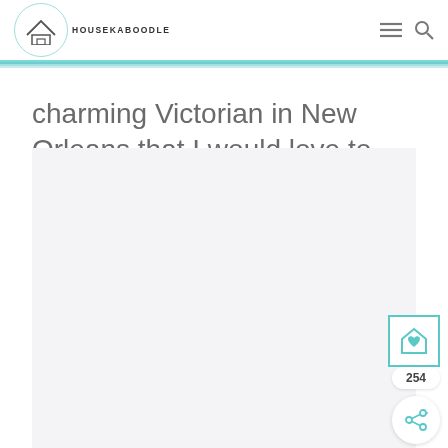HOUSEKABOODLE
charming Victorian in New Orleans that I would love to see.
[Figure (photo): Large image placeholder area with light gray/blue background, likely a Victorian house photo]
254